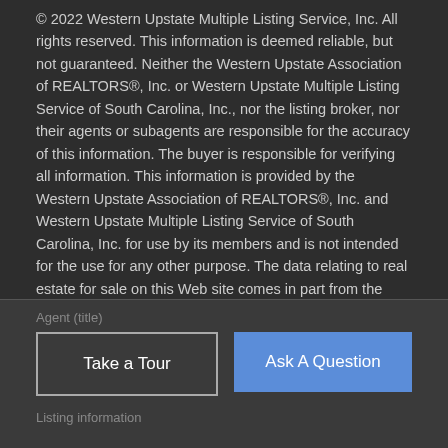© 2022 Western Upstate Multiple Listing Service, Inc. All rights reserved. This information is deemed reliable, but not guaranteed. Neither the Western Upstate Association of REALTORS®, Inc. or Western Upstate Multiple Listing Service of South Carolina, Inc., nor the listing broker, nor their agents or subagents are responsible for the accuracy of this information. The buyer is responsible for verifying all information. This information is provided by the Western Upstate Association of REALTORS®, Inc. and Western Upstate Multiple Listing Service of South Carolina, Inc. for use by its members and is not intended for the use for any other purpose. The data relating to real estate for sale on this Web site comes in part from the Broker Reciprocity Program of the Western Upstate Association of REALTORS®, Inc. and the Western Upstate Multiple Listing Service, Inc. Data last updated: 2022-08-28T23:35:42.853.
Bryan DeYoung 864-230-8284
Take a Tour
Ask A Question